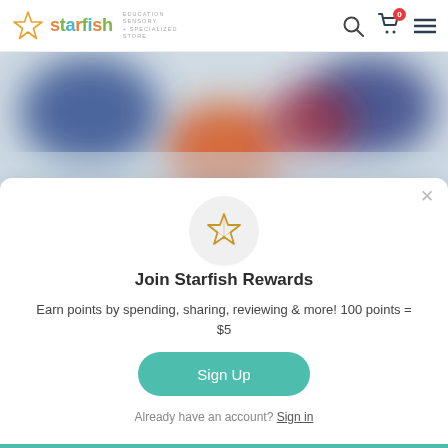starfish EDUCATION SENSORY + SPECIALIZED STORE
[Figure (screenshot): Blurred hero image with colorful shapes on light blue-grey background; orange, red, blue blurred objects]
Join Starfish Rewards
Earn points by spending, sharing, reviewing & more! 100 points = $5
Sign Up
Already have an account? Sign in